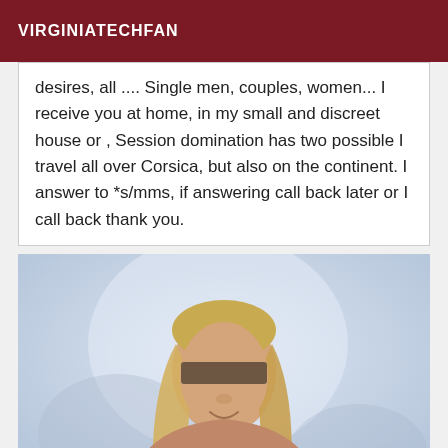VIRGINIATECHFAN
desires, all .... Single men, couples, women... I receive you at home, in my small and discreet house or , Session domination has two possible I travel all over Corsica, but also on the continent. I answer to *s/mms, if answering call back later or I call back thank you.
[Figure (photo): A blonde woman with long straight hair, eyes obscured by a privacy bar/redaction, smiling, against a light blue/white background. She appears to be wearing minimal clothing.]